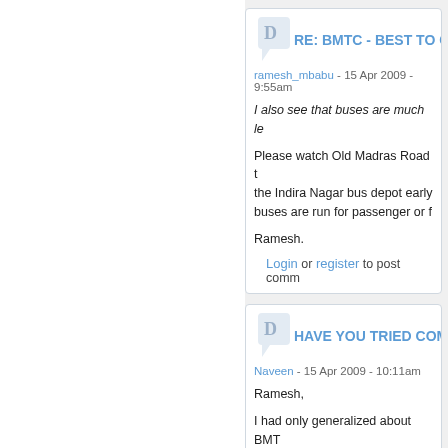RE: BMTC - BEST TO CO...
ramesh_mbabu - 15 Apr 2009 - 9:55am
I also see that buses are much le...
Please watch Old Madras Road ... the Indira Nagar bus depot early ... buses are run for passenger or f...
Ramesh.
Login or register to post comm...
HAVE YOU TRIED COMPL...
Naveen - 15 Apr 2009 - 10:11am
Ramesh,
I had only generalized about BMT... hours. As I had mentioned previo... services strongly & a requiremen... sees many commuters with too f... bring this to the notice of BMTC ... below :